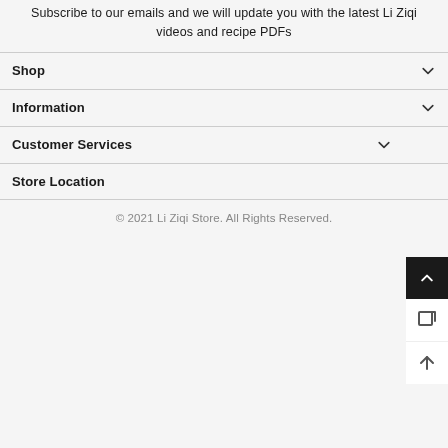Subscribe to our emails and we will update you with the latest Li Ziqi videos and recipe PDFs
Shop
Information
Customer Services
Store Location
© 2021 Li Ziqi Store. All Rights Reserved.